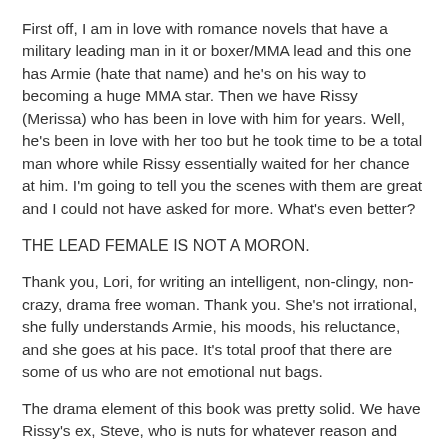First off, I am in love with romance novels that have a military leading man in it or boxer/MMA lead and this one has Armie (hate that name) and he's on his way to becoming a huge MMA star. Then we have Rissy (Merissa) who has been in love with him for years. Well, he's been in love with her too but he took time to be a total man whore while Rissy essentially waited for her chance at him. I'm going to tell you the scenes with them are great and I could not have asked for more. What's even better?
THE LEAD FEMALE IS NOT A MORON.
Thank you, Lori, for writing an intelligent, non-clingy, non-crazy, drama free woman. Thank you. She's not irrational, she fully understands Armie, his moods, his reluctance, and she goes at his pace. It's total proof that there are some of us who are not emotional nut bags.
The drama element of this book was pretty solid. We have Rissy's ex, Steve, who is nuts for whatever reason and then we also have Armie's mysterious past that he has chosen to